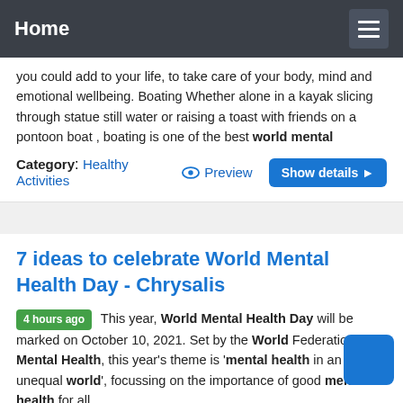Home
you could add to your life, to take care of your body, mind and emotional wellbeing. Boating Whether alone in a kayak slicing through statue still water or raising a toast with friends on a pontoon boat , boating is one of the best world mental
Category: Healthy Activities   Preview   Show details
7 ideas to celebrate World Mental Health Day - Chrysalis
4 hours ago This year, World Mental Health Day will be marked on October 10, 2021. Set by the World Federation for Mental Health, this year's theme is 'mental health in an unequal world', focussing on the importance of good mental health for all.